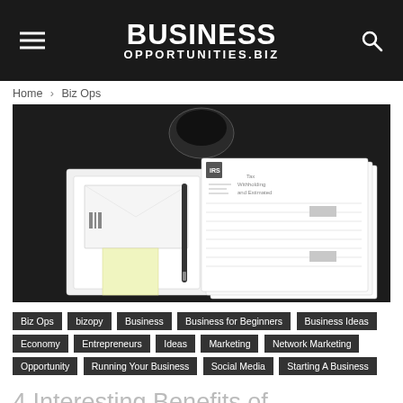BUSINESS OPPORTUNITIES.BIZ
Home › Biz Ops
[Figure (photo): Overhead photo of tax withholding and estimated tax forms, an envelope, a sticky note, a pen, and a coffee cup on a dark table]
Biz Ops
bizopy
Business
Business for Beginners
Business Ideas
Economy
Entrepreneurs
Ideas
Marketing
Network Marketing
Opportunity
Running Your Business
Social Media
Starting A Business
4 Interesting Benefits of Paying Taxes Now Before...